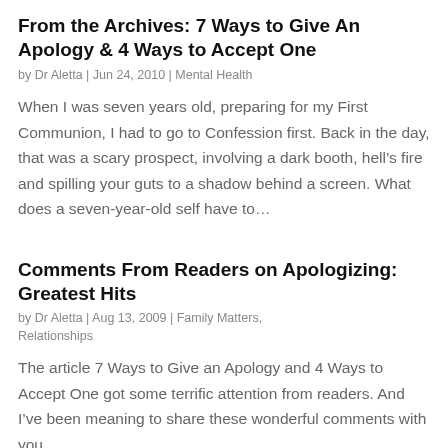From the Archives: 7 Ways to Give An Apology & 4 Ways to Accept One
by Dr Aletta | Jun 24, 2010 | Mental Health
When I was seven years old, preparing for my First Communion, I had to go to Confession first. Back in the day, that was a scary prospect, involving a dark booth, hell’s fire and spilling your guts to a shadow behind a screen. What does a seven-year-old self have to…
Comments From Readers on Apologizing: Greatest Hits
by Dr Aletta | Aug 13, 2009 | Family Matters, Relationships
The article 7 Ways to Give an Apology and 4 Ways to Accept One got some terrific attention from readers. And I’ve been meaning to share these wonderful comments with you.